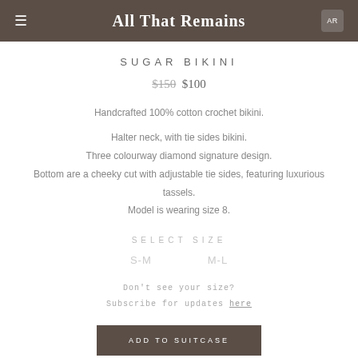All That Remains
SUGAR BIKINI
$150  $100
Handcrafted 100% cotton crochet bikini.
Halter neck, with tie sides bikini.
Three colourway diamond signature design.
Bottom are a cheeky cut with adjustable tie sides, featuring luxurious tassels.
Model is wearing size 8.
SELECT SIZE
S-M   M-L
Don't see your size?
Subscribe for updates here
ADD TO SUITCASE